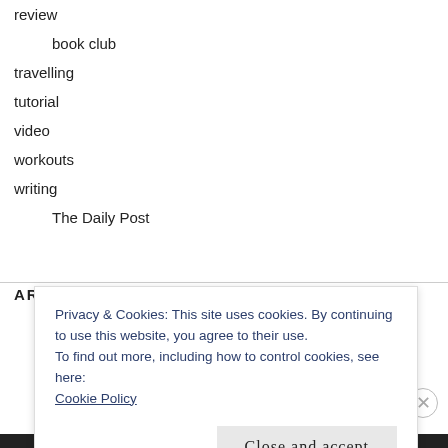review
book club
travelling
tutorial
video
workouts
writing
The Daily Post
ARCHIVES
Privacy & Cookies: This site uses cookies. By continuing to use this website, you agree to their use.
To find out more, including how to control cookies, see here:
Cookie Policy
Close and accept